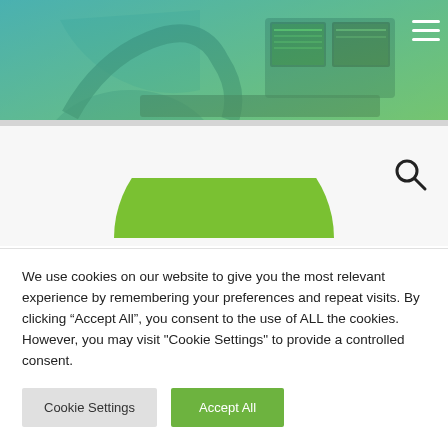[Figure (photo): Medical imaging equipment (C-arm / fluoroscopy machine) in a clinical setting with monitors, overlaid with a blue-green to green gradient tint. Hamburger menu icon in top right corner.]
[Figure (illustration): Green semicircle shape partially visible, centered horizontally, representing a decorative or logo element on the webpage.]
[Figure (other): Search (magnifying glass) icon in the upper right area of the middle section.]
We use cookies on our website to give you the most relevant experience by remembering your preferences and repeat visits. By clicking “Accept All”, you consent to the use of ALL the cookies. However, you may visit "Cookie Settings" to provide a controlled consent.
Cookie Settings | Accept All